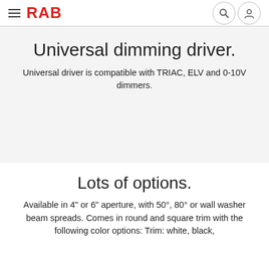RAB
Universal dimming driver.
Universal driver is compatible with TRIAC, ELV and 0-10V dimmers.
Lots of options.
Available in 4" or 6" aperture, with 50°, 80° or wall washer beam spreads. Comes in round and square trim with the following color options: Trim: white, black, ...